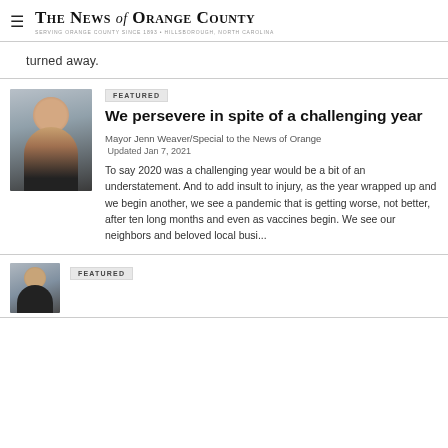THE NEWS of ORANGE COUNTY — Serving Orange County since 1893 • Hillsborough, North Carolina
turned away.
[Figure (photo): Headshot photo of Mayor Jenn Weaver, a woman with long brown hair wearing a dark blazer]
FEATURED
We persevere in spite of a challenging year
Mayor Jenn Weaver/Special to the News of Orange
Updated Jan 7, 2021
To say 2020 was a challenging year would be a bit of an understatement. And to add insult to injury, as the year wrapped up and we begin another, we see a pandemic that is getting worse, not better, after ten long months and even as vaccines begin. We see our neighbors and beloved local busi...
FEATURED